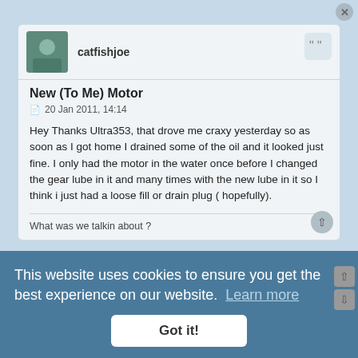catfishjoe
New (To Me) Motor
20 Jan 2011, 14:14
Hey Thanks Ultra353, that drove me craxy yesterday so as soon as I got home I drained some of the oil and it looked just fine. I only had the motor in the water once before I changed the gear lube in it and many times with the new lube in it so I think i just had a loose fill or drain plug ( hopefully).
What was we talkin about ?
BaitCaster
New (To Me) Motor
20 Jan 2011, 14:56
Nice looking motor. Real clean.
This website uses cookies to ensure you get the best experience on our website.  Learn more
Got it!